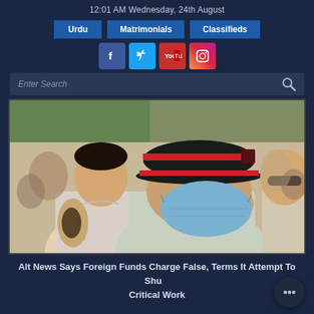12:01 AM Wednesday, 24th August
Urdu
Matrimonials
Classifieds
[Figure (screenshot): Social media icons: Facebook, Twitter, YouTube, Instagram]
[Figure (photo): Photograph of men in a crowd; one man wearing a black and red baseball cap and a blue surgical mask in foreground, another man with tattoo visible on arm on the left]
Alt News Says Foreign Funds Charge False, Terms It Attempt To Shut Critical Work